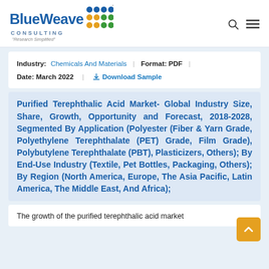[Figure (logo): BlueWeave Consulting logo with colored dot grid and tagline 'Research Simplified']
Industry: Chemicals And Materials  |  Format: PDF  |  Date: March 2022  |  Download Sample
Purified Terephthalic Acid Market- Global Industry Size, Share, Growth, Opportunity and Forecast, 2018-2028, Segmented By Application (Polyester (Fiber & Yarn Grade, Polyethylene Terephthalate (PET) Grade, Film Grade), Polybutylene Terephthalate (PBT), Plasticizers, Others); By End-Use Industry (Textile, Pet Bottles, Packaging, Others); By Region (North America, Europe, The Asia Pacific, Latin America, The Middle East, And Africa);
The growth of the purified terephthalic acid market